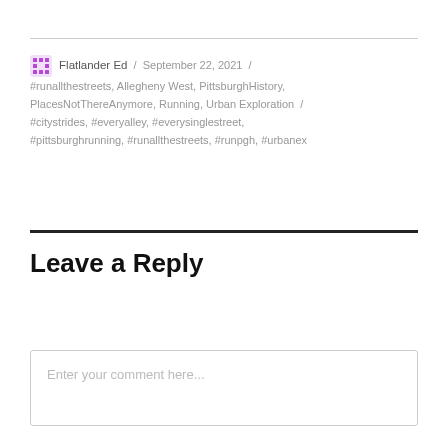Flatlander Ed / September 22, 2021 / #runallthestreets, Allegheny West, PittsburghHistory, PlacesNotThereAnymore, Running, Urban Exploration / #citystrides, #everyalley, #everysinglestreet, #pittsburghrunning, #runallthestreets, #runpgh, #urbanex
Leave a Reply
Enter your comment here...